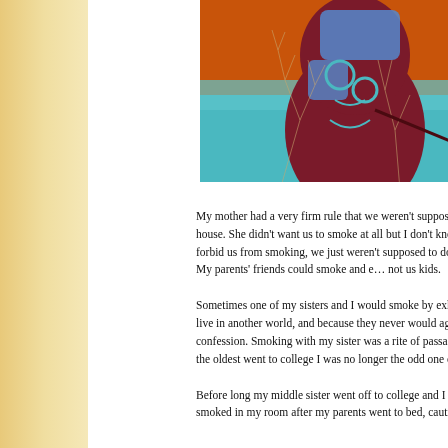[Figure (illustration): A colorful painting/illustration showing an abstract face figure with blue and maroon tones, tree branches, and an orange/teal background. The artwork appears to be a stylized cultural or folk art piece.]
My mother had a very firm rule that we weren't supposed to smoke in the house. She didn't want us to smoke at all but I don't know if she actually forbid us from smoking, we just weren't supposed to do it in the house. My parents' friends could smoke and even my older sisters but not us kids.
Sometimes one of my sisters and I would smoke by exhaling into the... live in another world, and because they never would agree to have em... confession. Smoking with my sister was a rite of passage for me. Gro... the oldest went to college I was no longer the odd one out.
Before long my middle sister went off to college and I was the sole ki... I smoked in my room after my parents went to bed, cautiously breathi...